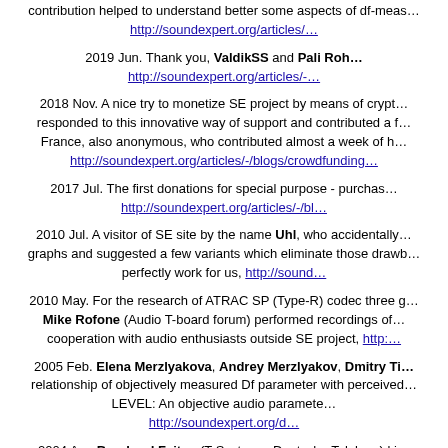contribution helped to understand better some aspects of df-meas... http://soundexpert.org/articles/...
2019 Jun. Thank you, ValdikSS and Pali Roh... http://soundexpert.org/articles/-...
2018 Nov. A nice try to monetize SE project by means of crypt... responded to this innovative way of support and contributed a f... France, also anonymous, who contributed almost a week of h... http://soundexpert.org/articles/-/blogs/crowdfunding...
2017 Jul. The first donations for special purpose - purchas... http://soundexpert.org/articles/-/bl...
2010 Jul. A visitor of SE site by the name Uhl, who accidentally... graphs and suggested a few variants which eliminate those drawb... perfectly work for us, http://sound...
2010 May. For the research of ATRAC SP (Type-R) codec three g... Mike Rofone (Audio T-board forum) performed recordings of... cooperation with audio enthusiasts outside SE project, http:...
2005 Feb. Elena Merzlyakova, Andrey Merzlyakov, Dmitry Ti... relationship of objectively measured Df parameter with perceived... LEVEL: An objective audio paramete... http://soundexpert.org/d...
2004 Apr. Bernhard Feiten (T-Systems, Deutsche Telekom) ki... Perceptual Codecs with The Differe...
2000 Jan. Thanks to valuable comments and advices of Jacco...